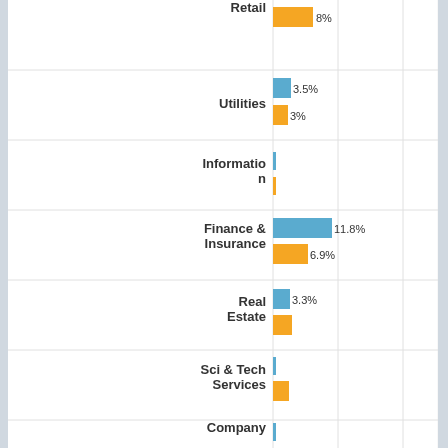[Figure (grouped-bar-chart): Industry comparison (partial)]